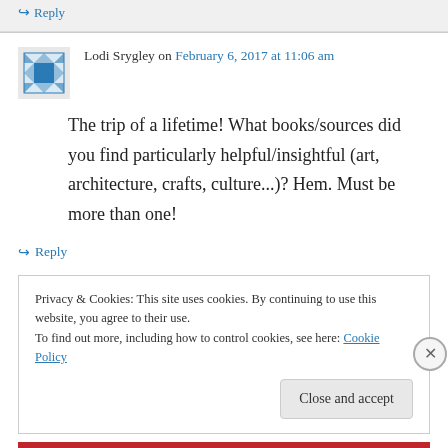↪ Reply
Lodi Srygley on February 6, 2017 at 11:06 am
The trip of a lifetime! What books/sources did you find particularly helpful/insightful (art, architecture, crafts, culture...)? Hem. Must be more than one!
↪ Reply
Privacy & Cookies: This site uses cookies. By continuing to use this website, you agree to their use. To find out more, including how to control cookies, see here: Cookie Policy
Close and accept